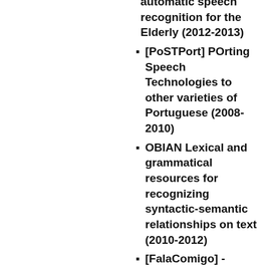automatic speech recognition for the Elderly (2012-2013)
[PoSTPort] POrting Speech Technologies to other varieties of Portuguese (2008-2010)
OBIAN Lexical and grammatical resources for recognizing syntactic-semantic relationships on text (2010-2012)
[FalaComigo] - Enhance the Cultural Tourism through the Interaction with Virtual Characters (2010-2013)
REAP.PT - Computer Assisted Language